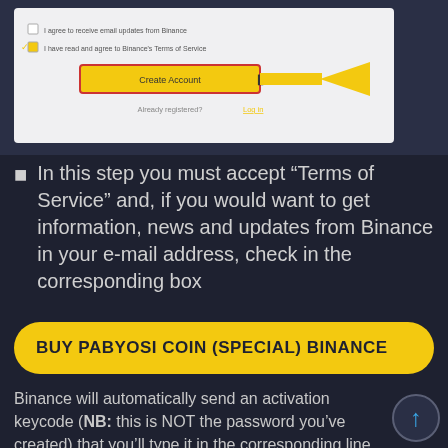[Figure (screenshot): Screenshot of Binance account creation form showing checkboxes for email acceptance and Terms of Service, a yellow 'Create Account' button highlighted with a red border and a yellow arrow pointing to it, and an 'Already registered? Log in' link below.]
In this step you must accept "Terms of Service" and, if you would want to get information, news and updates from Binance in your e-mail address, check in the corresponding box
BUY PABYOSI COIN (SPECIAL) BINANCE
Binance will automatically send an activation keycode (NB: this is NOT the password you've created) that you'll type it in the corresponding line, then press "Send"
That's it! You are now signed up with Binance.